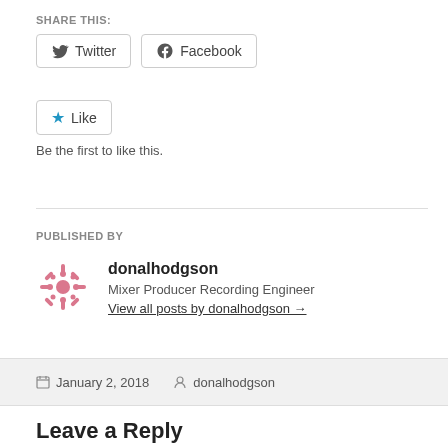SHARE THIS:
[Figure (other): Twitter and Facebook share buttons]
[Figure (other): Like button with star icon]
Be the first to like this.
PUBLISHED BY
[Figure (other): Author avatar - pink snowflake/asterisk icon]
donalhodgson
Mixer Producer Recording Engineer
View all posts by donalhodgson →
January 2, 2018   donalhodgson
Leave a Reply